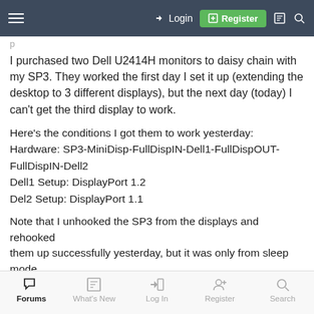Login | Register
I purchased two Dell U2414H monitors to daisy chain with my SP3. They worked the first day I set it up (extending the desktop to 3 different displays), but the next day (today) I can't get the third display to work.
Here's the conditions I got them to work yesterday:
Hardware: SP3-MiniDisp-FullDispIN-Dell1-FullDispOUT-FullDispIN-Dell2
Dell1 Setup: DisplayPort 1.2
Del2 Setup: DisplayPort 1.1
Note that I unhooked the SP3 from the displays and rehooked them up successfully yesterday, but it was only from sleep mode. This morning it came out of hibernation and it doesn't work.
Forums | What's New | Log In | Register | Search